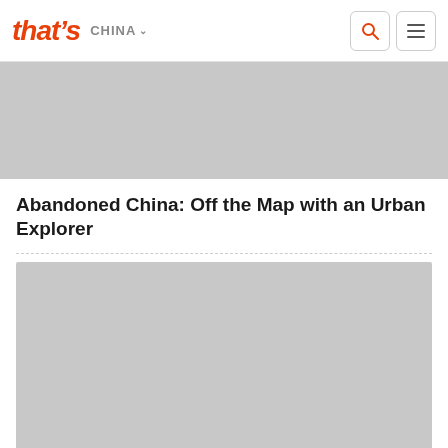that's CHINA
[Figure (photo): Top article image placeholder (gray)]
Abandoned China: Off the Map with an Urban Explorer
[Figure (photo): Main article image placeholder (gray)]